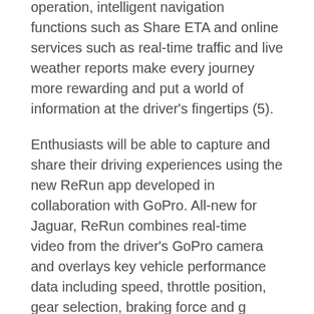operation, intelligent navigation functions such as Share ETA and online services such as real-time traffic and live weather reports make every journey more rewarding and put a world of information at the driver's fingertips (5).
Enthusiasts will be able to capture and share their driving experiences using the new ReRun app developed in collaboration with GoPro. All-new for Jaguar, ReRun combines real-time video from the driver's GoPro camera and overlays key vehicle performance data including speed, throttle position, gear selection, braking force and g force. The video – including unique 'highlights' sections – can be downloaded to the driver's smartphone and shared on social media (6).